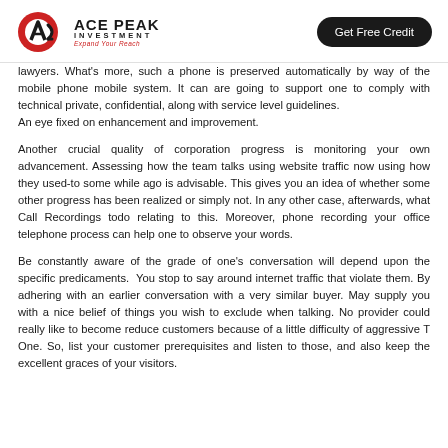ACE PEAK INVESTMENT — Expand Your Reach | Get Free Credit
lawyers. What's more, such a phone is preserved automatically by way of the mobile phone mobile system. It can are going to support one to comply with technical private, confidential, along with service level guidelines.
An eye fixed on enhancement and improvement.

Another crucial quality of corporation progress is monitoring your own advancement. Assessing how the team talks using website traffic now using how they used-to some while ago is advisable. This gives you an idea of whether some other progress has been realized or simply not. In any other case, afterwards, what Call Recordings todo relating to this. Moreover, phone recording your office telephone process can help one to observe your words.

Be constantly aware of the grade of one's conversation will depend upon the specific predicaments.  You stop to say around internet traffic that violate them. By adhering with an earlier conversation with a very similar buyer. May supply you with a nice belief of things you wish to exclude when talking. No provider could really like to become reduce customers because of a little difficulty of aggressive T One. So, list your customer prerequisites and listen to those, and also keep the excellent graces of your visitors.